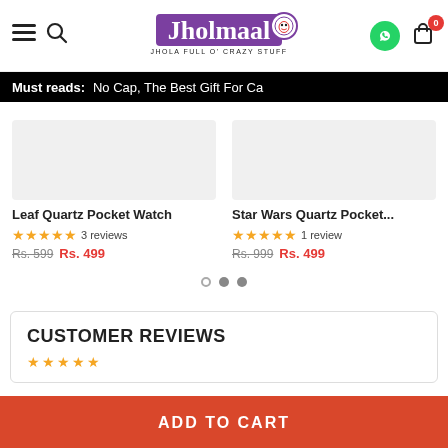[Figure (logo): Jholmaal logo with purple background and tagline 'JHOLA FULL O' CRAZY STUFF']
Must reads: No Cap, The Best Gift For Ca
Leaf Quartz Pocket Watch - ★★★★★ 3 reviews - Rs. 599 Rs. 499
Star Wars Quartz Pocket... - ★★★★★ 1 review - Rs. 999 Rs. 499
CUSTOMER REVIEWS
ADD TO CART